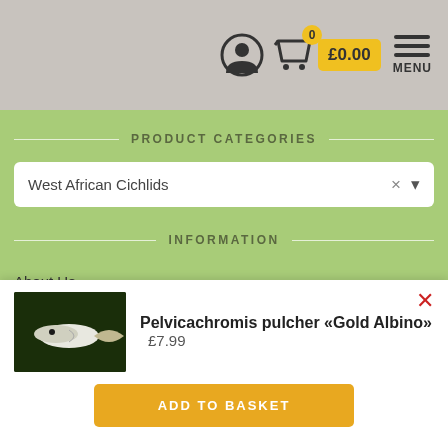£0.00 MENU
PRODUCT CATEGORIES
West African Cichlids
INFORMATION
About Us
Privacy Policy
Terms and Conditions
Pelvicachromis pulcher «Gold Albino» £7.99
ADD TO BASKET